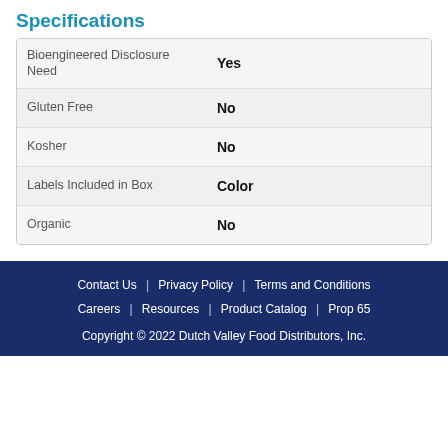Specifications
|  |  |
| --- | --- |
| Bioengineered Disclosure Need | Yes |
| Gluten Free | No |
| Kosher | No |
| Labels Included in Box | Color |
| Organic | No |
Contact Us | Privacy Policy | Terms and Conditions | Careers | Resources | Product Catalog | Prop 65
Copyright © 2022 Dutch Valley Food Distributors, Inc.